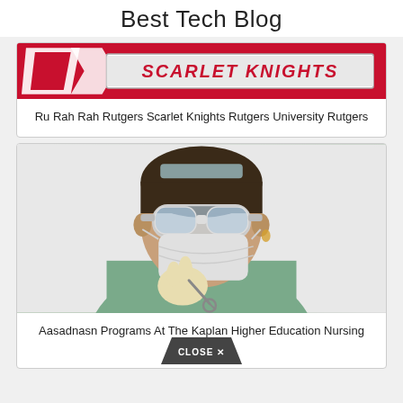Best Tech Blog
[Figure (photo): Rutgers Scarlet Knights logo banner with red background and white/red text saying SCARLET KNIGHTS]
Ru Rah Rah Rutgers Scarlet Knights Rutgers University Rutgers
[Figure (photo): Medical professional wearing surgical mask, safety goggles, scrubs and gloves, holding dental/medical instrument]
Aasadnasn Programs At The Kaplan Higher Education Nursing School